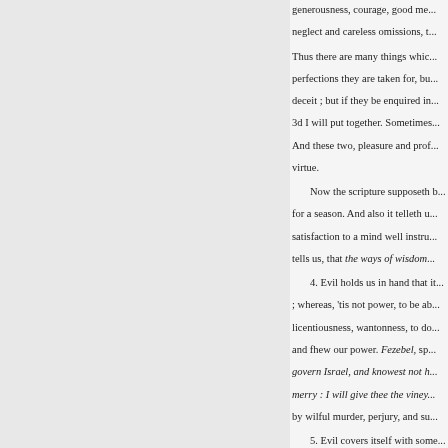generousness, courage, good me... neglect and careless omissions, t...
Thus there are many things whic... perfections they are taken for, bu... deceit ; but if they be enquired in... 3d I will put together. Sometimes... And these two, pleasure and prof... virtue.
Now the scripture supposeth b... for a season. And also it telleth u... satisfaction to a mind well instru... tells us, that the ways of wisdom
4. Evil holds us in hand that it... ; whereas, 'tis not power, to be ab... licentiousness, wantonness, to do... and fhew our power. Fezebel, sp... govern Israel, and knowest not h... merry : I will give thee the viney... by wilful murder, perjury, and su...
5. Evil covers itself with some... than colours, pretences, represen...